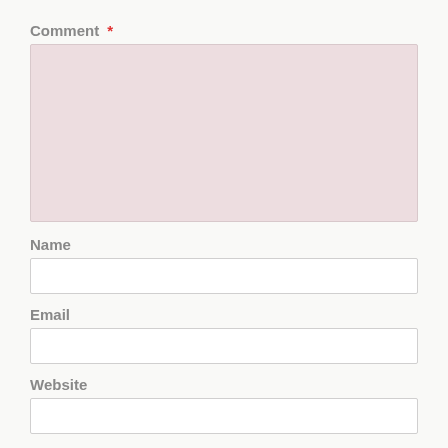Comment *
Name
Email
Website
Save my name, email, and website in this browser for the next ti